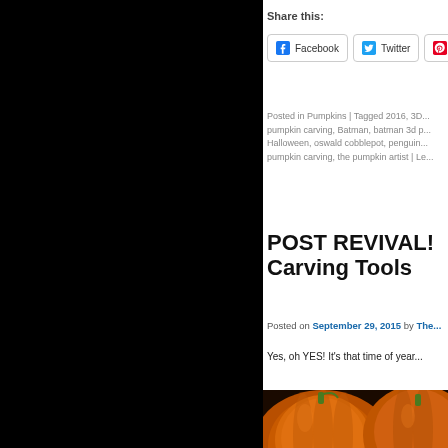Share this:
Facebook  Twitter  Pi...
Posted in Pumpkins | Tagged 2016, 3D... pumpkin carving, Batman, batman 3d p... Halloween, oswald cobblepot, penguin... pumpkin carving, the pumpkin artist | Le...
POST REVIVAL!... Carving Tools
Posted on September 29, 2015 by The...
Yes, oh YES! It's that time of year...
[Figure (photo): Orange pumpkins photograph, partially visible at bottom of page]